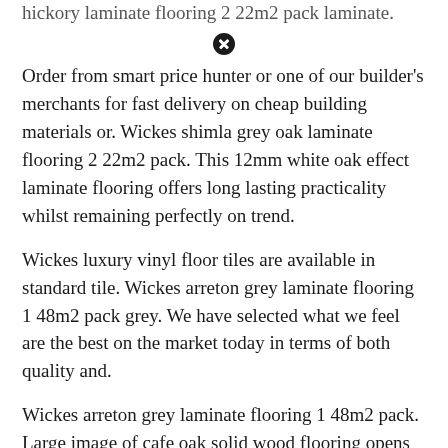hickory laminate flooring 2 22m2 pack laminate.
[Figure (other): Close button icon (circle with X)]
Order from smart price hunter or one of our builder's merchants for fast delivery on cheap building materials or. Wickes shimla grey oak laminate flooring 2 22m2 pack. This 12mm white oak effect laminate flooring offers long lasting practicality whilst remaining perfectly on trend.
Wickes luxury vinyl floor tiles are available in standard tile. Wickes arreton grey laminate flooring 1 48m2 pack grey. We have selected what we feel are the best on the market today in terms of both quality and.
Wickes arreton grey laminate flooring 1 48m2 pack. Large image of cafe oak solid wood flooring opens in a new. Wickes albero white oak laminate flooring 1 48m2 pack oak.
Our white laminate floor boads are all suitable for use with